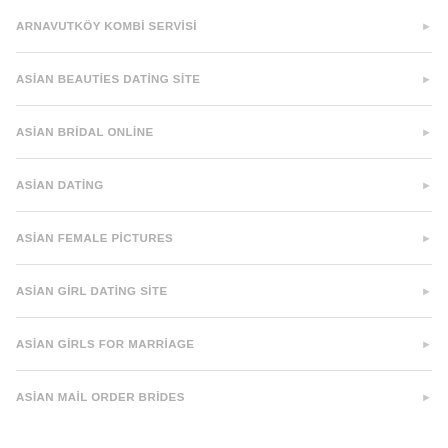ARNAVUTKÖY KOMBİ SERVİSİ
ASİAN BEAUTİES DATİNG SİTE
ASİAN BRİDAL ONLİNE
ASİAN DATİNG
ASİAN FEMALE PİCTURES
ASİAN GİRL DATİNG SİTE
ASİAN GİRLS FOR MARRİAGE
ASİAN MAİL ORDER BRİDES